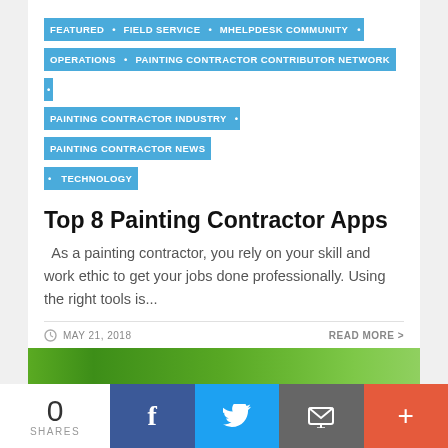FEATURED • FIELD SERVICE • MHELPDESK COMMUNITY • OPERATIONS • PAINTING CONTRACTOR CONTRIBUTOR NETWORK • PAINTING CONTRACTOR INDUSTRY • PAINTING CONTRACTOR NEWS • TECHNOLOGY
Top 8 Painting Contractor Apps
As a painting contractor, you rely on your skill and work ethic to get your jobs done professionally. Using the right tools is...
MAY 21, 2018
READ MORE >
[Figure (other): Green gradient banner image]
0 SHARES
f (Facebook share button)
Twitter share button
Email share button
+ More share button